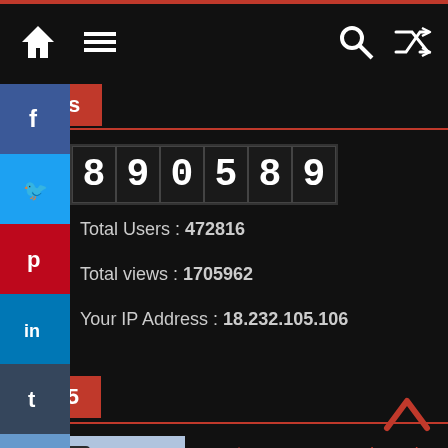Navigation bar with home, menu, search, and shuffle icons
Visits
890589
Total Users : 472816
Total views : 1705962
Your IP Address : 18.232.105.106
Top 5
[Figure (photo): Photo of woman's legs in high heels]
«Κλαίρη – Έρικα – Κλειώ» από τον Γιώργο Ντόβα